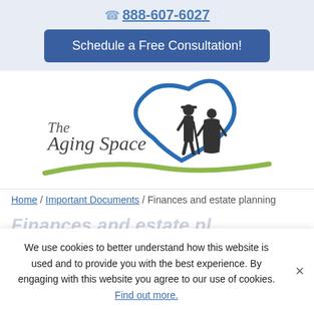888-607-6027
Schedule a Free Consultation!
[Figure (logo): The Aging Space logo with silhouettes of an elderly couple inside a blue heart shape and a green swoosh beneath the text 'The Aging Space']
Home / Important Documents / Finances and estate planning
We use cookies to better understand how this website is used and to provide you with the best experience. By engaging with this website you agree to our use of cookies. Find out more.